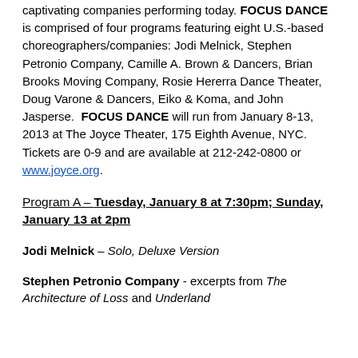captivating companies performing today. FOCUS DANCE is comprised of four programs featuring eight U.S.-based choreographers/companies: Jodi Melnick, Stephen Petronio Company, Camille A. Brown & Dancers, Brian Brooks Moving Company, Rosie Hererra Dance Theater, Doug Varone & Dancers, Eiko & Koma, and John Jasperse. FOCUS DANCE will run from January 8-13, 2013 at The Joyce Theater, 175 Eighth Avenue, NYC. Tickets are 0-9 and are available at 212-242-0800 or www.joyce.org.
Program A – Tuesday, January 8 at 7:30pm; Sunday, January 13 at 2pm
Jodi Melnick – Solo, Deluxe Version
Stephen Petronio Company - excerpts from The Architecture of Loss and Underland